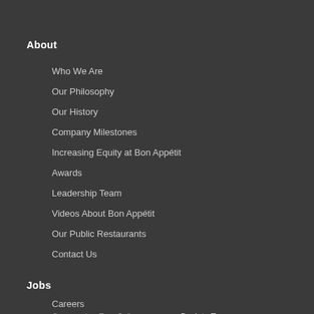About
Who We Are
Our Philosophy
Our History
Company Milestones
Increasing Equity at Bon Appétit
Awards
Leadership Team
Videos About Bon Appétit
Our Public Restaurants
Contact Us
Jobs
Careers
Careers (en Español)
Grow With Us
↑ Back to Top